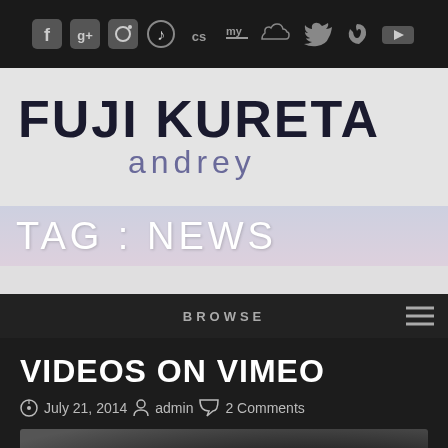[Social icons: Facebook, Google+, Instagram, Music, Last.fm, MySpace, SoundCloud, Twitter, Vimeo, YouTube]
FUJI KURETA andrey
TAG : NEWS
BROWSE
VIDEOS ON VIMEO
July 21, 2014  admin  2 Comments
[Figure (photo): Thumbnail image of a person with curly dark hair, partially visible at the bottom of the page, black and white]